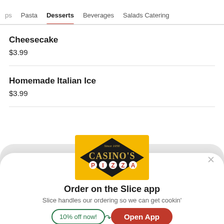ps  Pasta  Desserts  Beverages  Salads Catering
Cheesecake
$3.99
Homemade Italian Ice
$3.99
[Figure (logo): Casino's Pizza logo — gold/yellow background with black diamond shape and text 'CASINO'S PIZZA', 'Since 1956' at top]
Order on the Slice app
Slice handles our ordering so we can get cookin'
10% off now!  Open App